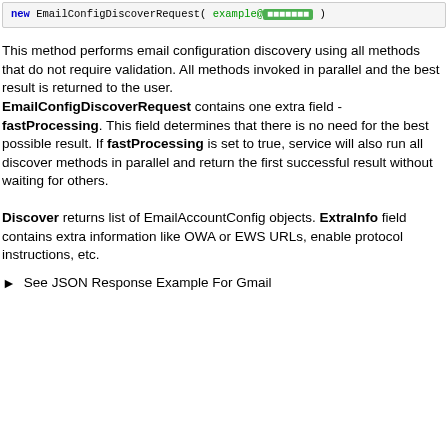[Figure (screenshot): Code box showing: new EmailConfigDiscoverRequest( example@... ) with syntax highlighting]
This method performs email configuration discovery using all methods that do not require validation. All methods invoked in parallel and the best result is returned to the user. EmailConfigDiscoverRequest contains one extra field - fastProcessing. This field determines that there is no need for the best possible result. If fastProcessing is set to true, service will also run all discover methods in parallel and return the first successful result without waiting for others.
Discover returns list of EmailAccountConfig objects. ExtraInfo field contains extra information like OWA or EWS URLs, enable protocol instructions, etc.
See JSON Response Example For Gmail